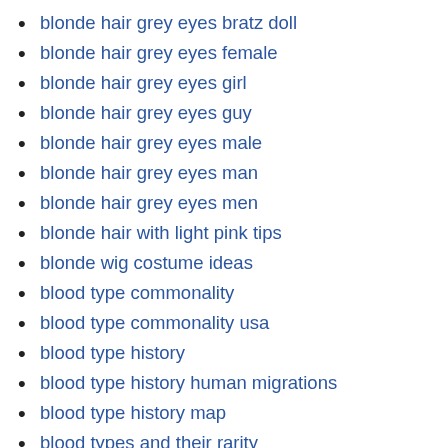blonde hair grey eyes bratz doll
blonde hair grey eyes female
blonde hair grey eyes girl
blonde hair grey eyes guy
blonde hair grey eyes male
blonde hair grey eyes man
blonde hair grey eyes men
blonde hair with light pink tips
blonde wig costume ideas
blood type commonality
blood type commonality usa
blood type history
blood type history human migrations
blood type history map
blood types and their rarity